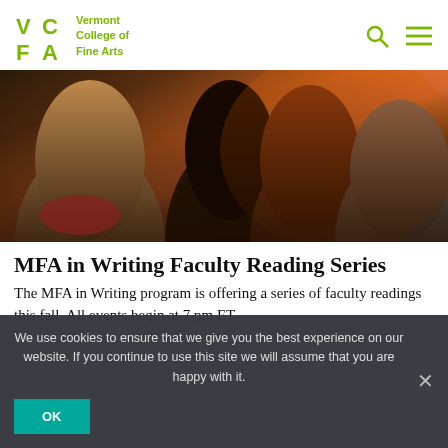Vermont College of Fine Arts
[Figure (photo): Audience members viewed from behind at an indoor reading event, warm orange lighting in background]
MFA in Writing Faculty Reading Series
The MFA in Writing program is offering a series of faculty readings this fall. All events begin at 7 pm ET and are free and open...
We use cookies to ensure that we give you the best experience on our website. If you continue to use this site we will assume that you are happy with it.